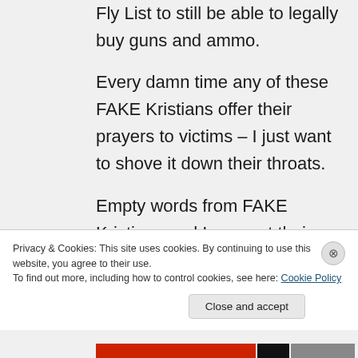Fly List to still be able to legally buy guns and ammo.
Every damn time any of these FAKE Kristians offer their prayers to victims – I just want to shove it down their throats.
Empty words from FAKE Kristians and I suspect their prayers simply bounce off the damn ceiling.
Privacy & Cookies: This site uses cookies. By continuing to use this website, you agree to their use. To find out more, including how to control cookies, see here: Cookie Policy